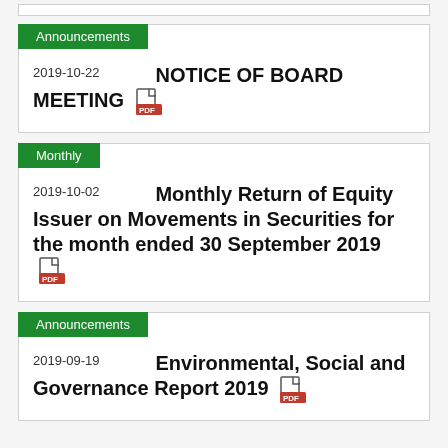Announcements
2019-10-22  NOTICE OF BOARD MEETING
Monthly
2019-10-02  Monthly Return of Equity Issuer on Movements in Securities for the month ended 30 September 2019
Announcements
2019-09-19  Environmental, Social and Governance Report 2019